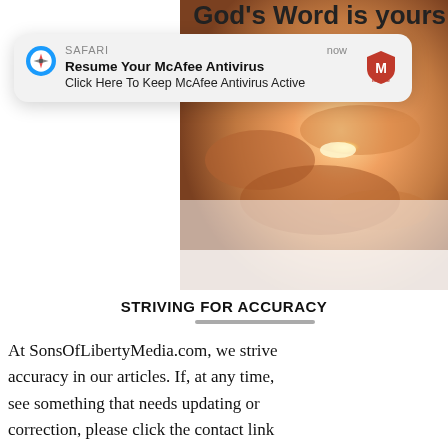[Figure (screenshot): Partial view of a webpage with text 'God's Word is yours today' in the background, and a warm blurry photo of hands holding a bracelet in the upper right portion]
[Figure (screenshot): iOS Safari push notification popup reading 'SAFARI · now · Resume Your McAfee Antivirus · Click Here To Keep McAfee Antivirus Active' with McAfee logo on the right]
STRIVING FOR ACCURACY
At SonsOfLibertyMedia.com, we strive accuracy in our articles. If, at any time, see something that needs updating or correction, please click the contact link